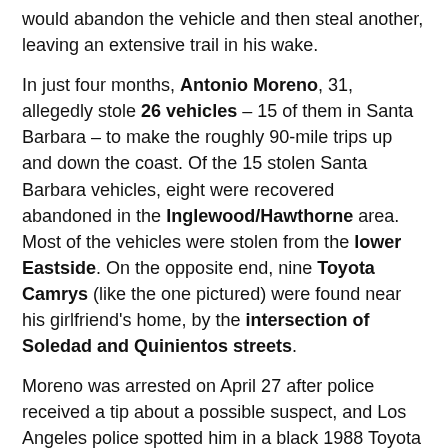would abandon the vehicle and then steal another, leaving an extensive trail in his wake.
In just four months, Antonio Moreno, 31, allegedly stole 26 vehicles – 15 of them in Santa Barbara – to make the roughly 90-mile trips up and down the coast. Of the 15 stolen Santa Barbara vehicles, eight were recovered abandoned in the Inglewood/Hawthorne area. Most of the vehicles were stolen from the lower Eastside. On the opposite end, nine Toyota Camrys (like the one pictured) were found near his girlfriend's home, by the intersection of Soledad and Quinientos streets.
Moreno was arrested on April 27 after police received a tip about a possible suspect, and Los Angeles police spotted him in a black 1988 Toyota Camry which had been stolen a few days earlier in Santa Barbara. Police believe he used a "simple device" able to start mid-1980s to early 1990s Japanese vehicles to get past the ignition lock to start the